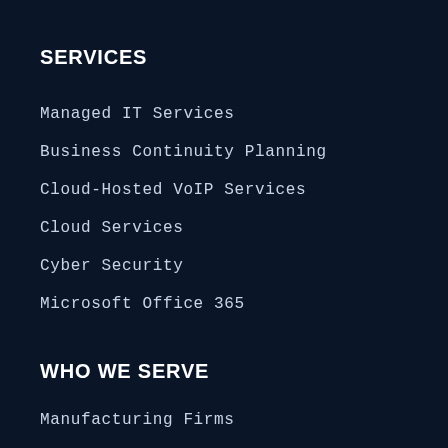SERVICES
Managed IT Services
Business Continuity Planning
Cloud-Hosted VoIP Services
Cloud Services
Cyber Security
Microsoft Office 365
WHO WE SERVE
Manufacturing Firms
Construction / Engineering Firms
Non-Profit Organizations